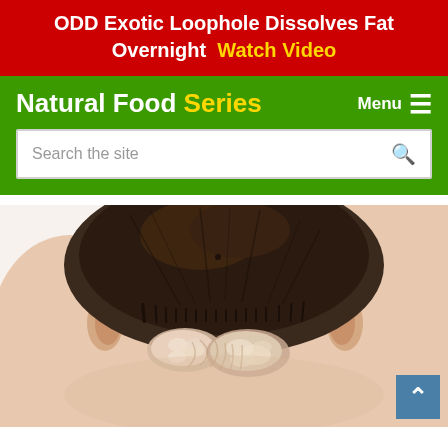ODD Exotic Loophole Dissolves Fat Overnight  Watch Video
Natural Food Series
Menu
Search the site
[Figure (photo): Back of a person's head and neck showing psoriasis or dandruff condition on the scalp and nape of the neck, seen from behind against a white background]